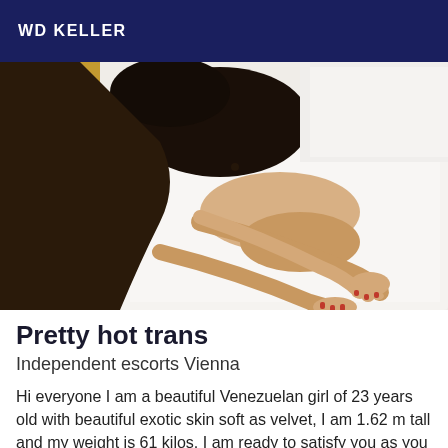WD KELLER
[Figure (photo): A person with long dark hair lying on a white fluffy rug and wooden floor, viewed from above, with hands stretched forward on the rug.]
Pretty hot trans
Independent escorts Vienna
Hi everyone I am a beautiful Venezuelan girl of 23 years old with beautiful exotic skin soft as velvet, I am 1.62 m tall and my weight is 61 kilos, I am ready to satisfy you as you wish, 100% safe sex, I am clean and very